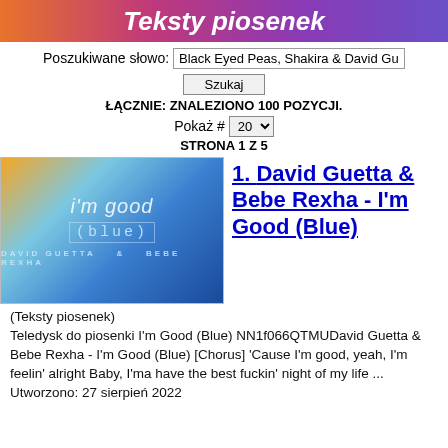Teksty piosenek
Poszukiwane słowo: Black Eyed Peas, Shakira & David Guetta
Szukaj
ŁĄCZNIE: ZNALEZIONO 100 POZYCJI.
Pokaż # 20
STRONA 1 Z 5
[Figure (photo): Album art for David Guetta & Bebe Rexha - I'm Good (Blue), showing the song title text on a blue gradient background]
1. David Guetta & Bebe Rexha - I'm Good (Blue)
(Teksty piosenek)
Teledysk do piosenki I'm Good (Blue) NN1f066QTMUDavid Guetta & Bebe Rexha - I'm Good (Blue) [Chorus] 'Cause I'm good, yeah, I'm feelin' alright Baby, I'ma have the best fuckin' night of my life ...
Utworzono: 27 sierpień 2022